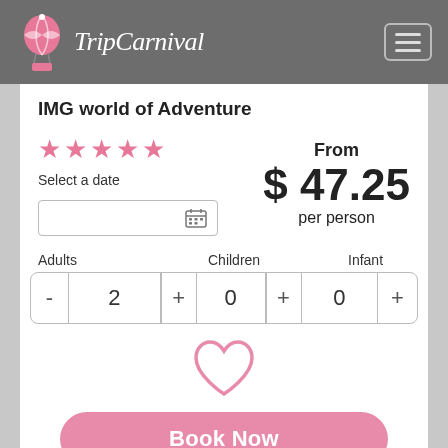TripCarnival
IMG world of Adventure
★★★★★
From $47.25 per person
Select a date
Adults  Children  Infant  -  2  +  0  +  0  +
[Figure (illustration): Heart/wishlist icon outline in pink]
Book Now
Booking Policy
BEST SELLER